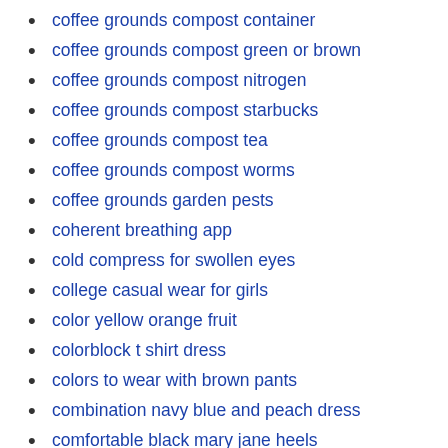coffee grounds compost container
coffee grounds compost green or brown
coffee grounds compost nitrogen
coffee grounds compost starbucks
coffee grounds compost tea
coffee grounds compost worms
coffee grounds garden pests
coherent breathing app
cold compress for swollen eyes
college casual wear for girls
color yellow orange fruit
colorblock t shirt dress
colors to wear with brown pants
combination navy blue and peach dress
comfortable black mary jane heels